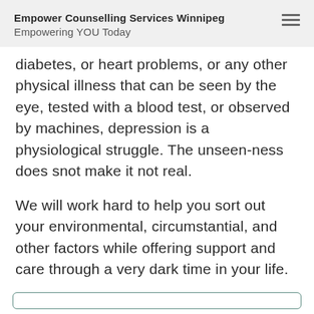Empower Counselling Services Winnipeg
Empowering YOU Today
diabetes, or heart problems, or any other physical illness that can be seen by the eye, tested with a blood test, or observed by machines, depression is a physiological struggle. The unseen-ness does snot make it not real.
We will work hard to help you sort out your environmental, circumstantial, and other factors while offering support and care through a very dark time in your life.